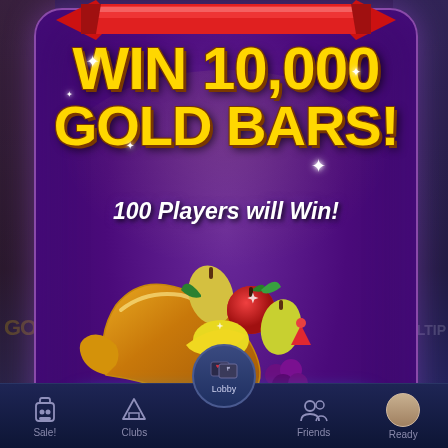[Figure (screenshot): Mobile casino app promotional screenshot showing a sweepstakes offer to win 10,000 Gold Bars. Features a purple decorative box with red ribbon at top, large gold text 'WIN 10,000 GOLD BARS!', italic white text '100 Players will Win!', a cornucopia with fruit illustration, a cyan 'ENTER NOW!' button, fine print legal text, and a bottom navigation bar with Sale!, Clubs, Lobby, Friends, Ready tabs.]
WIN 10,000 GOLD BARS!
100 Players will Win!
ENTER NOW!
Winners will be chosen and notified within 72 hours. Purchase must be made by 11:59PM PST. Prizes have no cash value. Terms & Conditions
Sale! | Clubs | Lobby | Friends | Ready